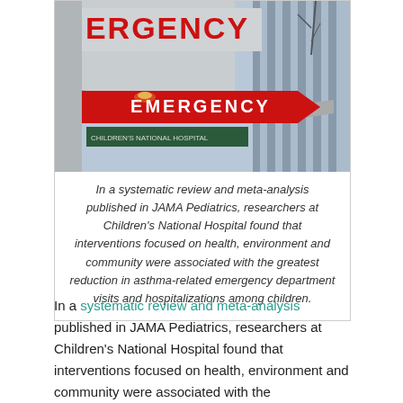[Figure (photo): Photo of a hospital emergency department exterior sign. A large red arrow-shaped sign reading 'EMERGENCY' in white letters hangs from a building canopy. Above it, partial text 'ERGENCY' is visible on the building facade. The building has a modern glass exterior.]
In a systematic review and meta-analysis published in JAMA Pediatrics, researchers at Children's National Hospital found that interventions focused on health, environment and community were associated with the greatest reduction in asthma-related emergency department visits and hospitalizations among children.
In a systematic review and meta-analysis published in JAMA Pediatrics, researchers at Children's National Hospital found that interventions focused on health, environment and community were associated with the